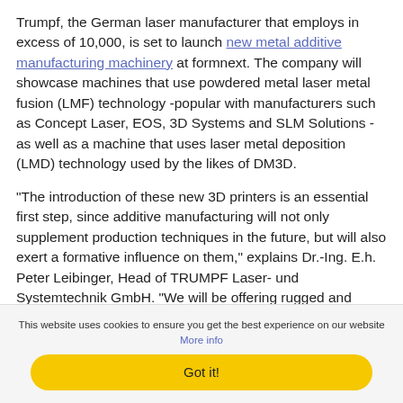Trumpf, the German laser manufacturer that employs in excess of 10,000, is set to launch new metal additive manufacturing machinery at formnext. The company will showcase machines that use powdered metal laser metal fusion (LMF) technology -popular with manufacturers such as Concept Laser, EOS, 3D Systems and SLM Solutions - as well as a machine that uses laser metal deposition (LMD) technology used by the likes of DM3D.
“The introduction of these new 3D printers is an essential first step, since additive manufacturing will not only supplement production techniques in the future, but will also exert a formative influence on them,” explains Dr.-Ing. E.h. Peter Leibinger, Head of TRUMPF Laser- und Systemtechnik GmbH. “We will be offering rugged and highly productive machinery with which small and medium-
This website uses cookies to ensure you get the best experience on our website More info
Got it!